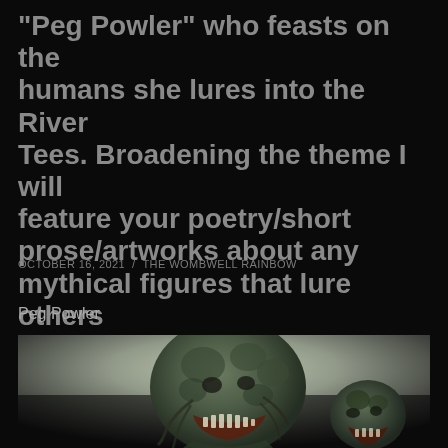"Peg Powler" who feasts on the humans she lures into the River Tees. Broadening the theme I will feature your poetry/short prose/artworks about any mythical figures that lure others to their death.
OCTOBER 16, 2021 / THE WOMBWELL RAINBOW
Peg Powler
[Figure (photo): A dark, grotesque creature with a textured green-grey bulbous head, sharp teeth visible in a wide mouth, and tentacle-like appendages. The creature appears to be a fantasy/horror depiction of Peg Powler, a water hag from English folklore. Dark atmospheric background.]